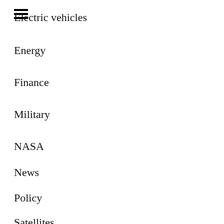Electric vehicles
Energy
Finance
Military
NASA
News
Policy
Satellites
Science